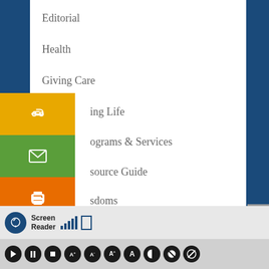Editorial
Health
Giving Care
ing Life
ograms & Services
source Guide
sdoms
[Figure (screenshot): Social sharing buttons: link icon (gold), email icon (green), print icon (orange), Facebook Share button (blue), Twitter Tweet button (blue)]
AUGUST 2022
[Figure (screenshot): Screen Reader toolbar with accessibility icon, signal bars, and media control buttons]